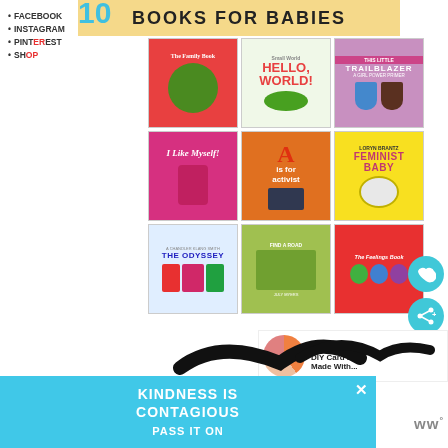BOOKS FOR BABIES
FACEBOOK
INSTAGRAM
PINTEREST
SHOP
[Figure (illustration): Grid of 9 book covers: The Family Book, Hello World, This Little Trailblazer, I Like Myself, A is for Activist, Feminist Baby, The Odyssey (A Chandler Klang Smith novel), Find a Road, The Feelings Book]
[Figure (infographic): Heart/like social button (teal circle)]
[Figure (infographic): Share social button (teal circle)]
WHAT'S NEXT → DIY Card Box Made With...
[Figure (illustration): Circular thumbnail for DIY Card Box article]
KINDNESS IS CONTAGIOUS PASS IT ON
[Figure (logo): Wordmark bottom right: ww°]